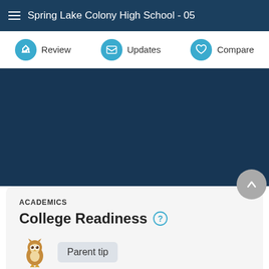Spring Lake Colony High School - 05
Review  Updates  Compare
[Figure (screenshot): Dark blue background section (empty)]
ACADEMICS
College Readiness
Parent tip
The best high schools offer advanced courses